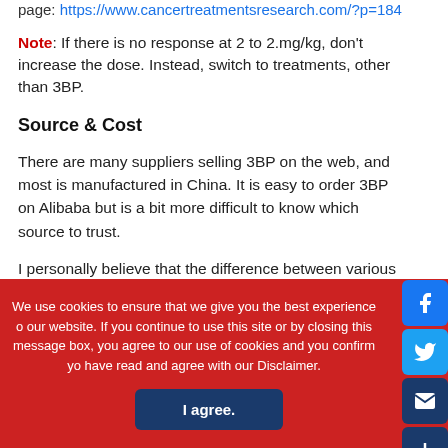page: https://www.cancertreatmentsresearch.com/?p=184
Note: If there is no response at 2 to 2.mg/kg, don't increase the dose. Instead, switch to treatments, other than 3BP.
Source & Cost
There are many suppliers selling 3BP on the web, and most is manufactured in China. It is easy to order 3BP on Alibaba but is a bit more difficult to know which source to trust.
I personally believe that the difference between various sources related to the following:
We use cookies to ensure that we give you the best experience on our website. If you continue to use this site or by closing this message box, you agree to our use of cookies and you confirm you have read and agree with our Disclaimer.